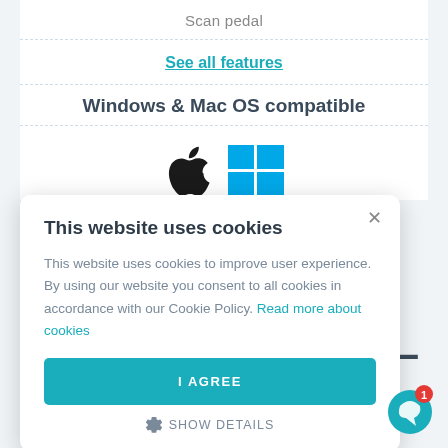Scan pedal
See all features
Windows & Mac OS compatible
[Figure (screenshot): Apple and Windows logos representing Mac OS and Windows compatibility]
This website uses cookies
This website uses cookies to improve user experience. By using our website you consent to all cookies in accordance with our Cookie Policy. Read more about cookies
I AGREE
SHOW DETAILS